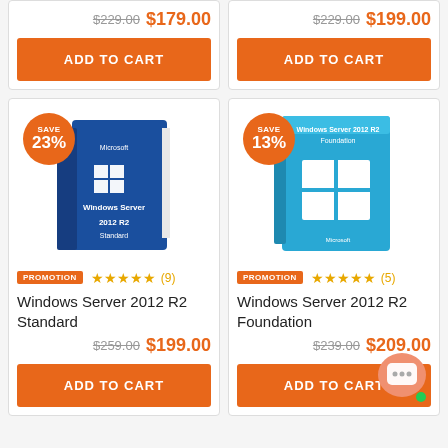[Figure (screenshot): Top partial product cards: left card shows old price $229.00 and new price $179.00 with ADD TO CART button; right card shows old price $229.00 and new price $199.00 with ADD TO CART button.]
[Figure (photo): Windows Server 2012 R2 Standard product box image with SAVE 23% badge, PROMOTION label, 5-star rating (9 reviews)]
Windows Server 2012 R2 Standard
$259.00  $199.00
ADD TO CART
[Figure (photo): Windows Server 2012 R2 Foundation product box image with SAVE 13% badge, PROMOTION label, 5-star rating (5 reviews)]
Windows Server 2012 R2 Foundation
$239.00  $209.00
ADD TO CART